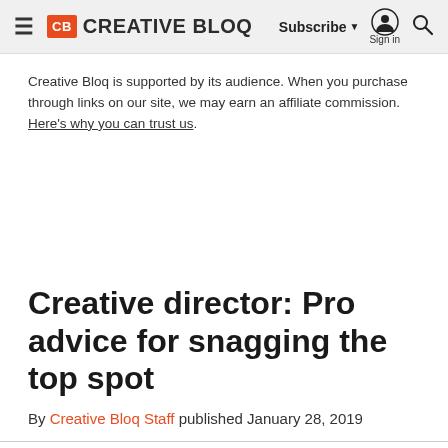Creative Bloq — Subscribe | Sign in | Search
Creative Bloq is supported by its audience. When you purchase through links on our site, we may earn an affiliate commission. Here's why you can trust us.
Creative director: Pro advice for snagging the top spot
By Creative Bloq Staff published January 28, 2019